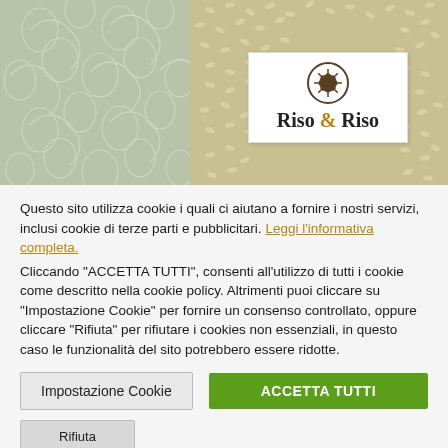[Figure (photo): Photo of rice grains in a container with a 'Riso & Riso' brand logo label, alongside a decorative floral/scroll patterned fabric on the left.]
Questo sito utilizza cookie i quali ci aiutano a fornire i nostri servizi, inclusi cookie di terze parti e pubblicitari. Leggi l'informativa completa. Cliccando "ACCETTA TUTTI", consenti all'utilizzo di tutti i cookie come descritto nella cookie policy. Altrimenti puoi cliccare su "Impostazione Cookie" per fornire un consenso controllato, oppure cliccare "Rifiuta" per rifiutare i cookies non essenziali, in questo caso le funzionalità del sito potrebbero essere ridotte.